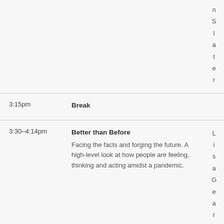| Time | Session | Speaker |
| --- | --- | --- |
|  |  | n Slater |
| 3:15pm | Break |  |
| 3:30–4:14pm | Better than Before
Facing the facts and forging the future. A high-level look at how people are feeling, thinking and acting amidst a pandemic. | Lisa Gerhart, |